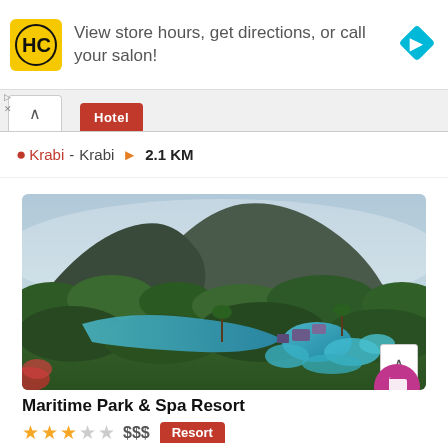[Figure (screenshot): Advertisement banner for a hair salon (HC logo) with text 'View store hours, get directions, or call your salon!' and a blue direction arrow icon]
Hotel
Krabi - Krabi  2.1 KM
[Figure (photo): Aerial view of Maritime Park & Spa Resort in Krabi, Thailand, showing blue swimming pools, tropical greenery, a lagoon, and dramatic limestone rock formation in background]
Maritime Park & Spa Resort
★★★☆☆ $$$ Resort